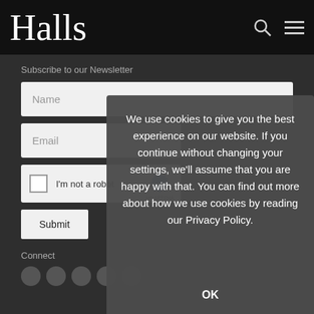Halls
Subscribe to our Newsletter
Name
Email
I'm not a robot
Submit
We use cookies to give you the best experience on our website. If you continue without changing your settings, we'll assume that you are happy with that. You can find out more about how we use cookies by reading our Privacy Policy.
OK
Connect